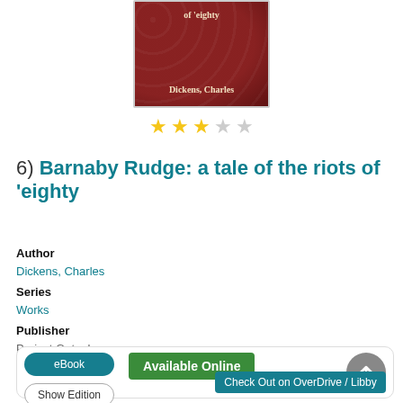[Figure (illustration): Book cover of 'Barnaby Rudge: a tale of the riots of eighty' by Dickens, Charles. Dark red/maroon background with decorative pattern, white/cream serif text.]
[Figure (other): Star rating: 3 out of 5 stars (three filled yellow stars, two empty grey stars)]
6)  Barnaby Rudge: a tale of the riots of 'eighty
Author
Dickens, Charles
Series
Works
Publisher
Project Gutenberg
Language
English
eBook | Show Edition | Available Online | Check Out on OverDrive / Libby